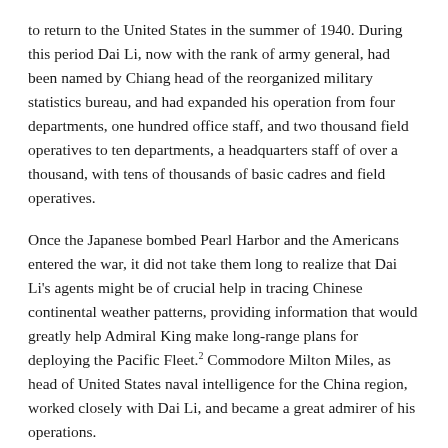to return to the United States in the summer of 1940. During this period Dai Li, now with the rank of army general, had been named by Chiang head of the reorganized military statistics bureau, and had expanded his operation from four departments, one hundred office staff, and two thousand field operatives to ten departments, a headquarters staff of over a thousand, with tens of thousands of basic cadres and field operatives.
Once the Japanese bombed Pearl Harbor and the Americans entered the war, it did not take them long to realize that Dai Li's agents might be of crucial help in tracing Chinese continental weather patterns, providing information that would greatly help Admiral King make long-range plans for deploying the Pacific Fleet.2 Commodore Milton Miles, as head of United States naval intelligence for the China region, worked closely with Dai Li, and became a great admirer of his operations.
It was through Miles's contacts with the Sino-American Cooperative Organization (SACO) that Dai Li was granted huge supplies of weapons and American personnel to help him train his agents, most especially in the Unit Nine camp, situated in Happy